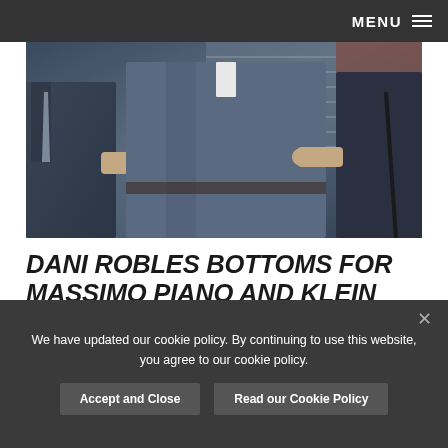MENU
[Figure (photo): Three men in business suits, two grabbing a third man by the jacket/arms in what appears to be a confrontational scene in an office setting.]
DANI ROBLES BOTTOMS FOR MASSIMO PIANO AND KLEIN KERR IN “PLAYED” FROM MENATPLAY
PUBLISHED: FEBRUARY 1, 2016  COMMENT
We have updated our cookie policy. By continuing to use this website, you agree to our cookie policy.
Accept and Close  Read our Cookie Policy